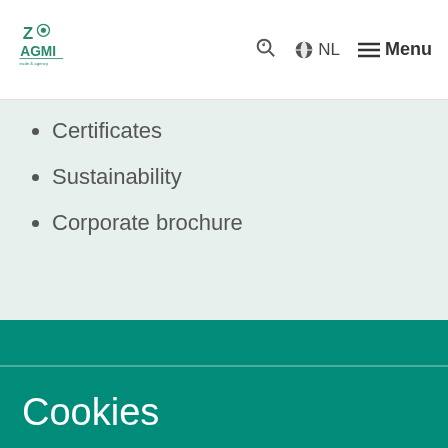[Figure (logo): AGMI company logo in green]
🔍 🌐 NL ☰ Menu
Certificates
Sustainability
Corporate brochure
Cookies
To be able to serve you better, agmi.nl uses cookies. By clicking "I agree" or by continuing to use this website, you agree to the placing of these cookies.
I AGREE